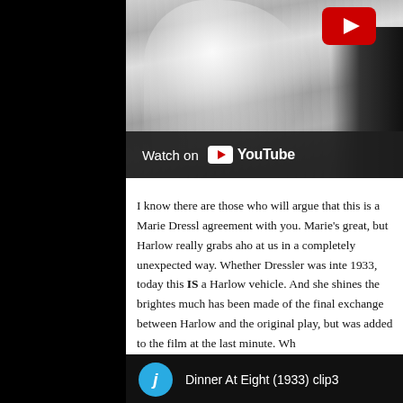[Figure (screenshot): Black and white film screenshot with YouTube 'Watch on YouTube' overlay bar at bottom and red YouTube play button at top right]
I know there are those who will argue that this is a Marie Dressl agreement with you. Marie's great, but Harlow really grabs aho at us in a completely unexpected way. Whether Dressler was inte 1933, today this IS a Harlow vehicle. And she shines the brighte much has been made of the final exchange between Harlow and the original play, but was added to the film at the last minute. Wh
[Figure (screenshot): YouTube video card for 'Dinner At Eight (1933) clip3' with cyan avatar circle with letter j]